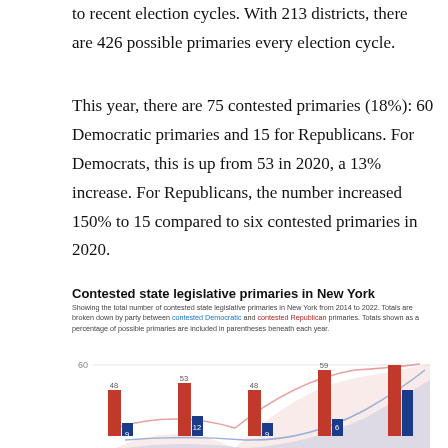to recent election cycles. With 213 districts, there are 426 possible primaries every election cycle.
This year, there are 75 contested primaries (18%): 60 Democratic primaries and 15 for Republicans. For Democrats, this is up from 53 in 2020, a 13% increase. For Republicans, the number increased 150% to 15 compared to six contested primaries in 2020.
Contested state legislative primaries in New York
Showing the total number of contested state legislative primaries in New York from 2014 to 2022. Totals are broken down by party between contested Democratic and contested Republican primaries. Totals shown as a percentage of possible primaries are included in parentheses beneath each year.
[Figure (grouped-bar-chart): Contested state legislative primaries in New York]